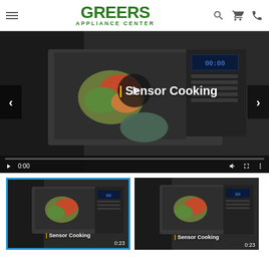Greers Appliance Center
[Figure (screenshot): Main video player showing a microwave being used, with 'Sensor Cooking' text overlay, play button, navigation arrows, and video controls at timestamp 0:00]
[Figure (screenshot): Thumbnail 1 (active/selected with blue border): Sensor Cooking video thumbnail showing microwave at 0:23]
[Figure (screenshot): Thumbnail 2: Sensor Cooking video thumbnail showing microwave at 0:23]